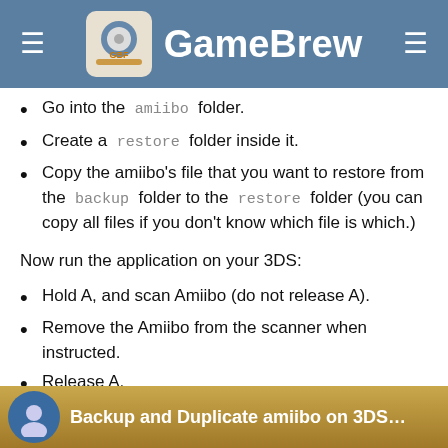GameBrew
Go into the amiibo folder.
Create a restore folder inside it.
Copy the amiibo's file that you want to restore from the backup folder to the restore folder (you can copy all files if you don't know which file is which.)
Now run the application on your 3DS:
Hold A, and scan Amiibo (do not release A).
Remove the Amiibo from the scanner when instructed.
Release A.
Hold B to exit.
Media
amibac and ami2 Homebrew Showcase (TCPixel)
[Figure (screenshot): Screenshot thumbnail showing 'Backup and Duplicate amiibo on 3DS' video thumbnail with dark background and avatar icon]